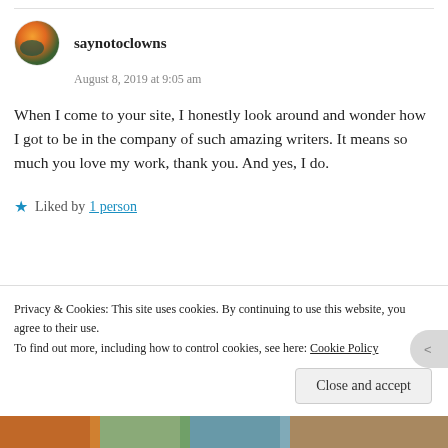saynotoclowns
August 8, 2019 at 9:05 am
When I come to your site, I honestly look around and wonder how I got to be in the company of such amazing writers. It means so much you love my work, thank you. And yes, I do.
Liked by 1 person
Privacy & Cookies: This site uses cookies. By continuing to use this website, you agree to their use.
To find out more, including how to control cookies, see here: Cookie Policy
Close and accept